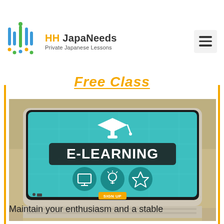HH JapaNeeds – Private Japanese Lessons
Free Class
[Figure (photo): Laptop computer on a desk displaying an e-learning website with a graduation cap icon, the text 'E-LEARNING' in bold white on a teal background, three circular icons (monitor, lightbulb, diploma), and an orange 'SIGN UP' button.]
Maintain your enthusiasm and a stable